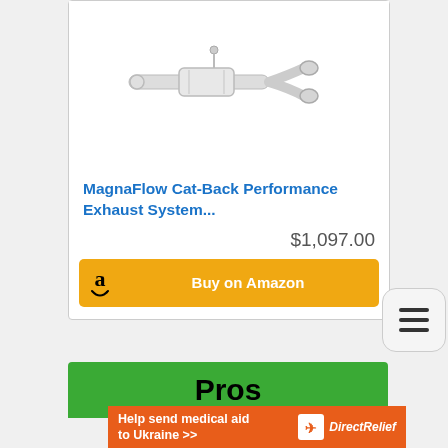[Figure (photo): Partial view of a MagnaFlow cat-back exhaust system component shown in white/silver on white background]
MagnaFlow Cat-Back Performance Exhaust System...
$1,097.00
Buy on Amazon
Pros
Help send medical aid to Ukraine >>
DirectRelief